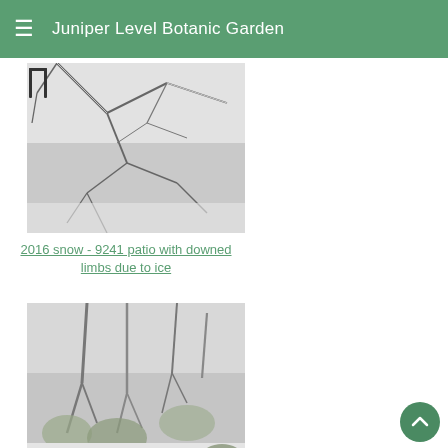Juniper Level Botanic Garden
[Figure (photo): Snow-covered branches and patio area with ice-downed limbs, black and white winter scene]
2016 snow - 9241 patio with downed limbs due to ice
[Figure (photo): Snow-covered woodland garden with metal chair and snowy ground, black and white winter scene]
2016 snow - 9241 woodland